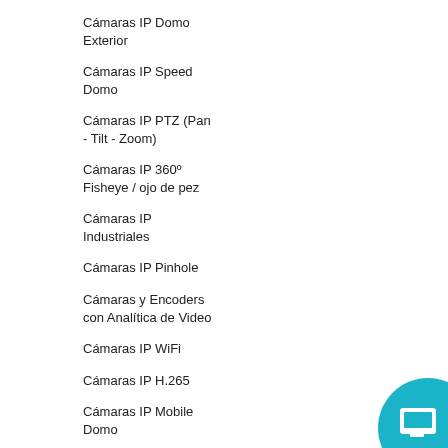Cámaras IP Domo Exterior
Cámaras IP Speed Domo
Cámaras IP PTZ (Pan - Tilt - Zoom)
Cámaras IP 360º Fisheye / ojo de pez
Cámaras IP Industriales
Cámaras IP Pinhole
Cámaras y Encoders con Analítica de Video
Cámaras IP WiFi
Cámaras IP H.265
Cámaras IP Mobile Domo
Cámaras IP LPC
Cámaras IP Cube
Cámaras IP Multisensores
[Figure (illustration): Teal/blue circular icon with a monitor/screen symbol at bottom right corner]